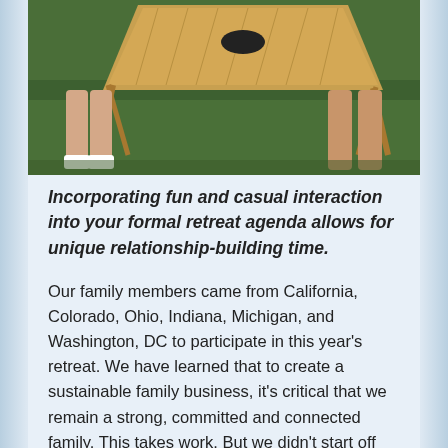[Figure (photo): Photo of a cornhole board game on grass with people's legs and feet visible in the background]
Incorporating fun and casual interaction into your formal retreat agenda allows for unique relationship-building time.
Our family members came from California, Colorado, Ohio, Indiana, Michigan, and Washington, DC to participate in this year's retreat. We have learned that to create a sustainable family business, it's critical that we remain a strong, committed and connected family. This takes work. But we didn't start off with a 3-day weekend at a beautiful resort. We started coming together on a Saturday